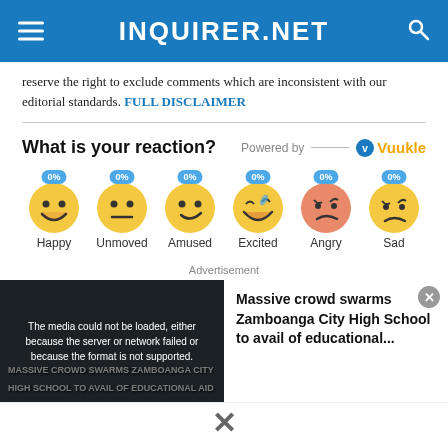INQUIRER.NET
reserve the right to exclude comments which are inconsistent with our editorial standards. FULL DISCLAIMER
What is your reaction?
[Figure (infographic): Reaction emojis: Happy 0%, Unmoved 0%, Amused 0%, Excited 0%, Angry 0%, Sad 0% — Powered by Vuukle]
Advertisement
[Figure (screenshot): Video media card: 'The media could not be loaded, either because the server or network failed or because the format is not supported.' with thumbnail of Massive crowd swarms Zamboanga City High School to avail of educational...]